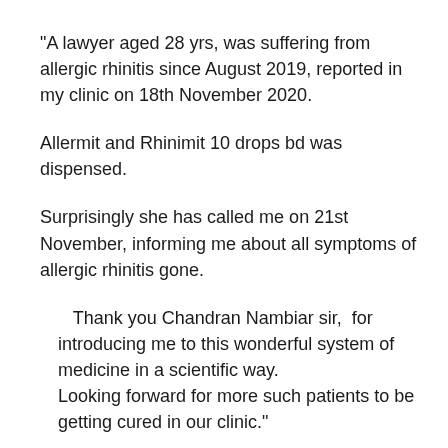“A lawyer aged 28 yrs, was suffering from allergic rhinitis since August 2019, reported in my clinic on 18th November 2020.
Allermit and Rhinimit 10 drops bd was dispensed.
Surprisingly she has called me on 21st November, informing me about all symptoms of allergic rhinitis gone.
Thank you Chandran Nambiar sir,  for introducing me to this wonderful system of medicine in a scientific way.
Looking forward for more such patients to be getting cured in our clinic.”